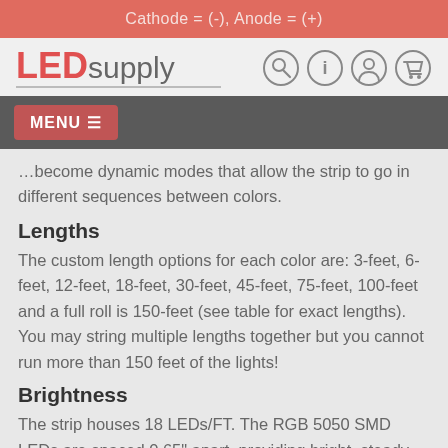Cathode = (-), Anode = (+)
[Figure (logo): LEDsupply logo with red LED text and gray supply text, with navigation icons (search, info, user, cart)]
MENU ≡
...become dynamic modes that allow the strip to go in different sequences between colors.
Lengths
The custom length options for each color are: 3-feet, 6-feet, 12-feet, 18-feet, 30-feet, 45-feet, 75-feet, 100-feet and a full roll is 150-feet (see table for exact lengths). You may string multiple lengths together but you cannot run more than 150 feet of the lights!
Brightness
The strip houses 18 LEDs/FT. The RGB 5050 SMD LEDs are spaced 0.65" apart, providing bright, steady...